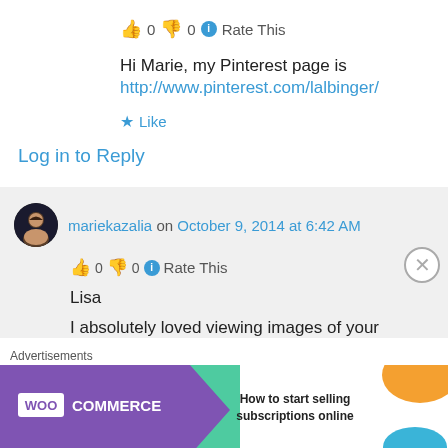👍 0 👎 0 ℹ Rate This
Hi Marie, my Pinterest page is
http://www.pinterest.com/lalbinger/
★ Like
Log in to Reply
mariekazalia on October 9, 2014 at 6:42 AM
👍 0 👎 0 ℹ Rate This
Lisa
I absolutely loved viewing images of your
Advertisements
[Figure (infographic): WooCommerce advertisement banner: purple background with WooCommerce logo, arrow shape, and text 'How to start selling subscriptions online' with orange and blue decorative shapes]